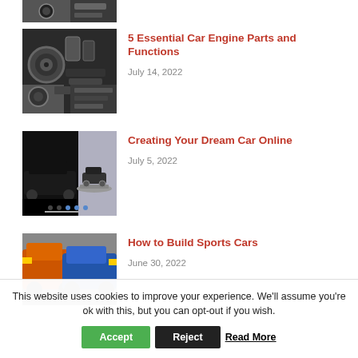[Figure (photo): Partial car engine/mechanical part photo at the top, cropped]
[Figure (photo): Black and white photo of a car engine with various components]
5 Essential Car Engine Parts and Functions
July 14, 2022
[Figure (photo): Car configurator or showroom image of a sports car on a display pedestal]
Creating Your Dream Car Online
July 5, 2022
[Figure (photo): Two cars side by side — an orange rusted car and a blue car]
How to Build Sports Cars
June 30, 2022
This website uses cookies to improve your experience. We'll assume you're ok with this, but you can opt-out if you wish.